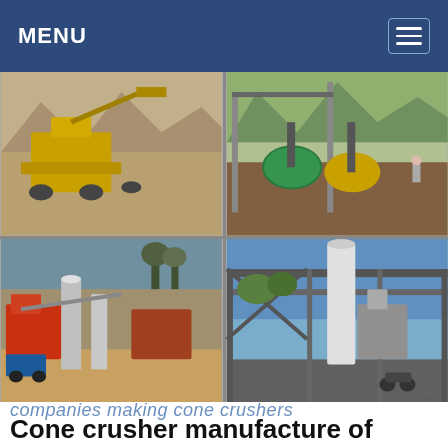MENU
[Figure (photo): Four-panel photo grid showing industrial crushing, grinding and mining equipment: top-left shows yellow mobile crusher plant in arid landscape; top-right shows green/yellow ball mills and industrial machinery outdoors; bottom-left shows red/orange heavy mining plant with silos and conveyors; bottom-right shows grey industrial dust collector/silo structure under blue sky]
companies making cone crushers
Cone crusher manufacture of india
Cone crusher manufacture of india Products. As a leading global manufacturer of crushing, grinding and mining